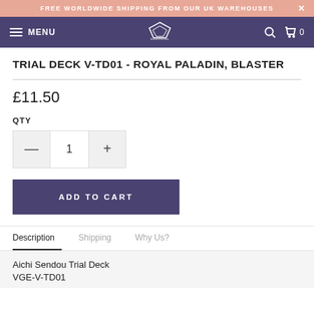FREE WORLDWIDE SHIPPING FROM OUR UK WAREHOUSES
MENU
TRIAL DECK V-TD01 - ROYAL PALADIN, BLASTER
£11.50
QTY
1
ADD TO CART
Description  Shipping  Why Us?
Aichi Sendou Trial Deck
VGE-V-TD01